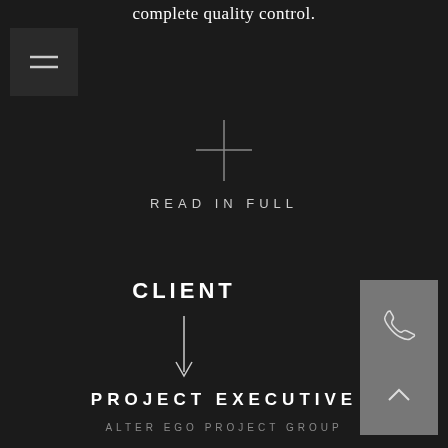complete quality control.
[Figure (other): Dark square icon with two horizontal white lines (hamburger/menu icon)]
[Figure (other): White plus sign (+) icon centered on dark background]
READ IN FULL
CLIENT
[Figure (other): White downward arrow icon]
[Figure (other): Gray square sidebar panel with phone icon and up-chevron icon]
PROJECT EXECUTIVE
ALTER EGO PROJECT GROUP